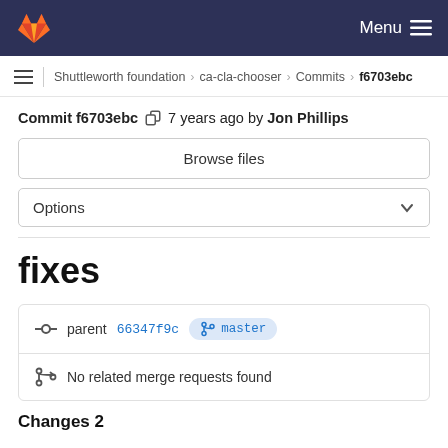Menu
Shuttleworth foundation > ca-cla-chooser > Commits > f6703ebc
Commit f6703ebc  7 years ago by Jon Phillips
Browse files
Options
fixes
parent 66347f9c  master
No related merge requests found
Changes 2